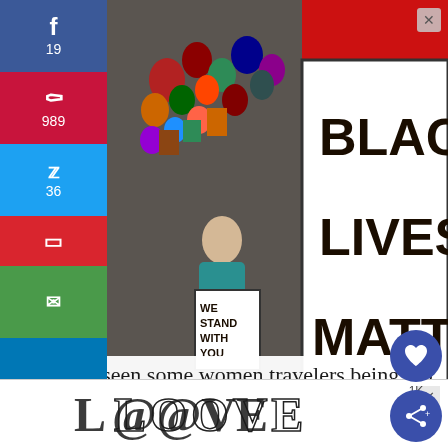[Figure (illustration): Painting of protesters holding signs reading 'BLACK LIVES MATTER' and 'WE STAND WITH YOU' with a colorful crowd in the background]
I've often seen some women travelers being too polite to persistent local men trying to talk to them.
[Figure (illustration): LOOVE decorative text logo banner advertisement at the bottom of the page]